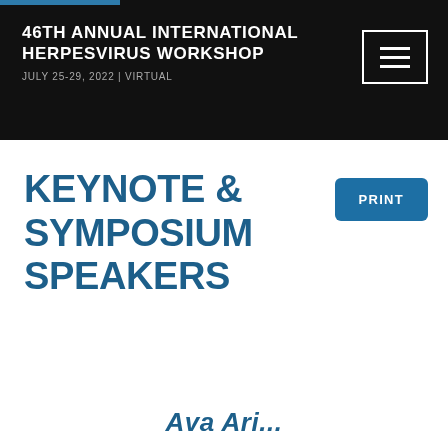46TH ANNUAL INTERNATIONAL HERPESVIRUS WORKSHOP
JULY 25-29, 2022 | VIRTUAL
KEYNOTE & SYMPOSIUM SPEAKERS
PRINT